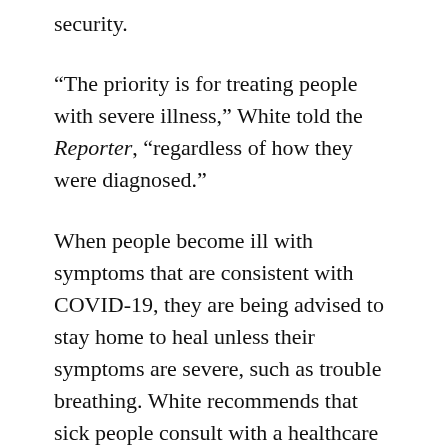security.
“The priority is for treating people with severe illness,” White told the Reporter, “regardless of how they were diagnosed.”
When people become ill with symptoms that are consistent with COVID-19, they are being advised to stay home to heal unless their symptoms are severe, such as trouble breathing. White recommends that sick people consult with a healthcare provider or public nurse. The state Department of Public Health has posted detailed advice on how to assess symptoms, when to seek more care, and how to reduce exposure for other members of the household.
But the most important thing, White said, is that